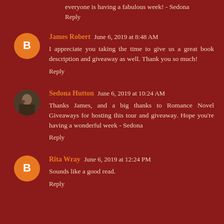everyone is having a fabulous week! - Sedona
Reply
James Robert  June 6, 2019 at 8:48 AM
I appreciate you taking the time to give us a great book description and giveaway as well. Thank you so much!
Reply
Sedona Hutton  June 6, 2019 at 10:24 AM
Thanks James, and a big thanks to Romance Novel Giveaways for hosting this tour and giveaway. Hope you're having a wonderful week - Sedona
Reply
Rita Wray  June 6, 2019 at 12:24 PM
Sounds like a good read.
Reply